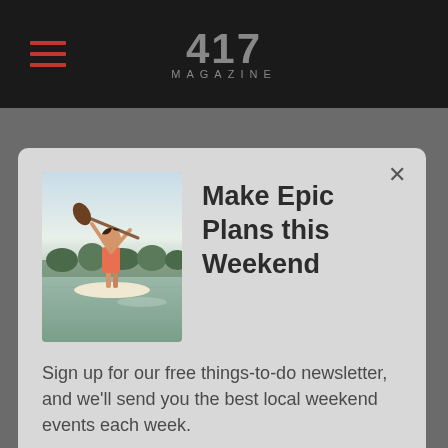417 MAGAZINE
[Figure (photo): Person paddle boarding on calm water, photographed from behind with paddle raised]
Make Epic Plans this Weekend
Sign up for our free things-to-do newsletter, and we'll send you the best local weekend events each week.
SEND ME THINGS TO DO